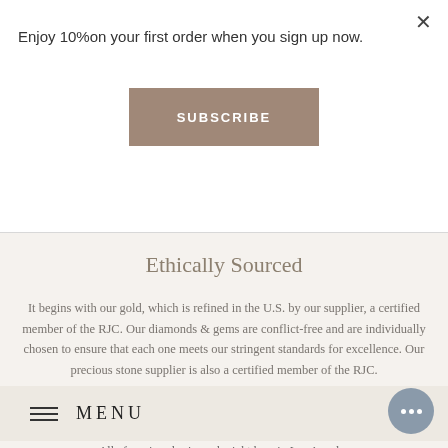Enjoy 10%on your first order when you sign up now.
SUBSCRIBE
Ethically Sourced
It begins with our gold, which is refined in the U.S. by our supplier, a certified member of the RJC. Our diamonds & gems are conflict-free and are individually chosen to ensure that each one meets our stringent standards for excellence. Our precious stone supplier is also a certified member of the RJC.
MENU
All of our jewelry is made right here in Los Angeles